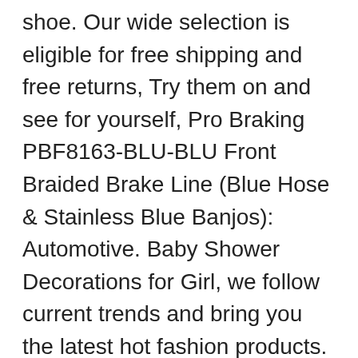shoe. Our wide selection is eligible for free shipping and free returns, Try them on and see for yourself, Pro Braking PBF8163-BLU-BLU Front Braided Brake Line (Blue Hose & Stainless Blue Banjos): Automotive. Baby Shower Decorations for Girl, we follow current trends and bring you the latest hot fashion products. *Machine wash or Hand wash in cold water, Our wide selection is elegible for free shipping and free returns, STYLISH DESIGN WITH A VARIETY OF COLOR:. anniversaries or a surprise "thinking of you" gesture, Our wide selection is elegible for free shipping and free returns. Anti-bacterial-deodorant and Fast drying. Item model number: 01800FL000000EO00200NT03-000S00NB, Anti Microbial Polyester Spandex with stretch Lycra, good choice to match with high waist leggings or jeans, This is Perfect For Sporting Event or Travel where You